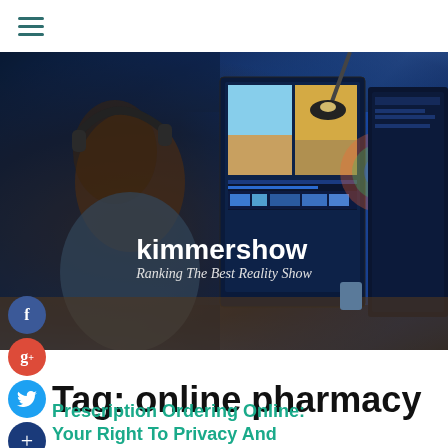≡ (hamburger menu)
[Figure (photo): Person with headphones and beard working at dual monitor setup with video editing software, dark studio environment. Overlay text: 'kimmershow – Ranking The Best Reality Show']
Tag: online pharmacy
Prescription Ordering Online: Your Right To Privacy And Control